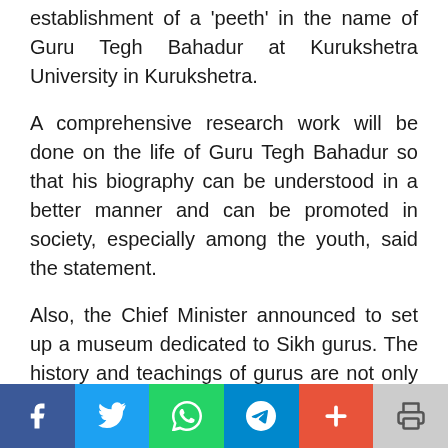establishment of a 'peeth' in the name of Guru Tegh Bahadur at Kurukshetra University in Kurukshetra.
A comprehensive research work will be done on the life of Guru Tegh Bahadur so that his biography can be understood in a better manner and can be promoted in society, especially among the youth, said the statement.
Also, the Chief Minister announced to set up a museum dedicated to Sikh gurus. The history and teachings of gurus are not only a rare legacy but also one of the most
Social share bar: Facebook, Twitter, WhatsApp, Telegram, Plus, Print